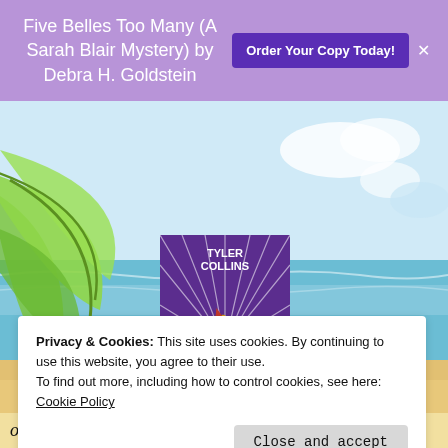Five Belles Too Many (A Sarah Blair Mystery) by Debra H. Goldstein
Order Your Copy Today!
[Figure (illustration): Beach scene background with palm leaves and sandy shore. Book cover for 'Forever Poi – A Triple Threat Mystery Book 4' by Tyler Collins, featuring a lipstick and bullet on a red background with radiating purple/white lines.]
Privacy & Cookies: This site uses cookies. By continuing to use this website, you agree to their use.
To find out more, including how to control cookies, see here:
Cookie Policy
Close and accept
order from Amazon 9/30/2023